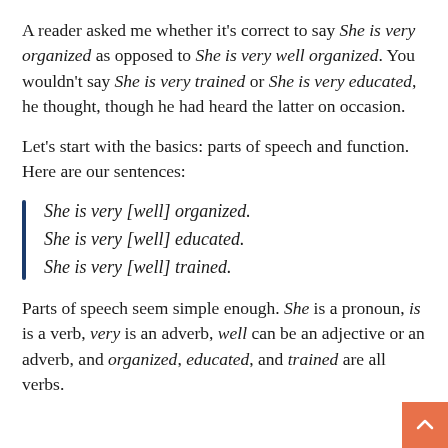A reader asked me whether it’s correct to say She is very organized as opposed to She is very well organized. You wouldn’t say She is very trained or She is very educated, he thought, though he had heard the latter on occasion.
Let’s start with the basics: parts of speech and function. Here are our sentences:
She is very [well] organized.
She is very [well] educated.
She is very [well] trained.
Parts of speech seem simple enough. She is a pronoun, is is a verb, very is an adverb, well can be an adjective or an adverb, and organized, educated, and trained are all verbs.